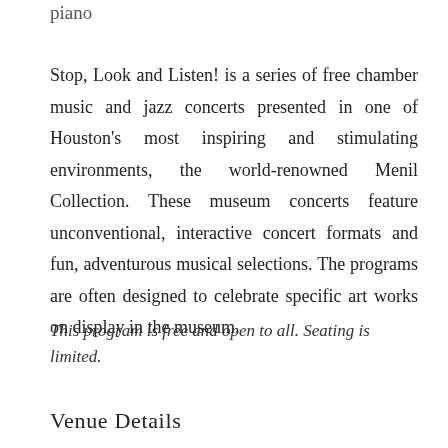piano
Stop, Look and Listen! is a series of free chamber music and jazz concerts presented in one of Houston's most inspiring and stimulating environments, the world-renowned Menil Collection. These museum concerts feature unconventional, interactive concert formats and fun, adventurous musical selections. The programs are often designed to celebrate specific art works on display in the museum.
This program is free and open to all. Seating is limited.
Venue Details